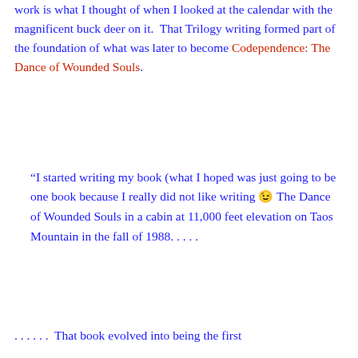work is what I thought of when I looked at the calendar with the magnificent buck deer on it.  That Trilogy writing formed part of the foundation of what was later to become Codependence: The Dance of Wounded Souls.
“I started writing my book (what I hoped was just going to be one book because I really did not like writing 😉 The Dance of Wounded Souls in a cabin at 11,000 feet elevation on Taos Mountain in the fall of 1988. . . . .
. . . . . .  That book evolved into being the first